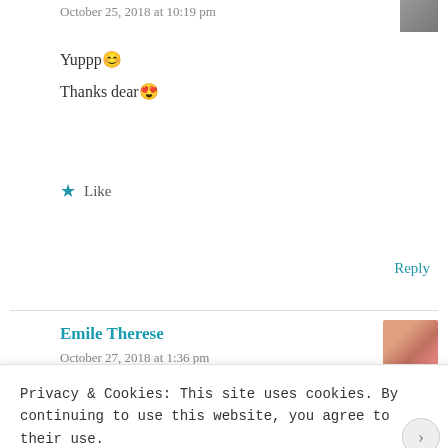October 25, 2018 at 10:19 pm
Yuppp 😊
Thanks dear 😍
★ Like
Reply
Emile Therese
October 27, 2018 at 1:36 pm
Privacy & Cookies: This site uses cookies. By continuing to use this website, you agree to their use.
To find out more, including how to control cookies, see here: Cookie Policy
Close and accept